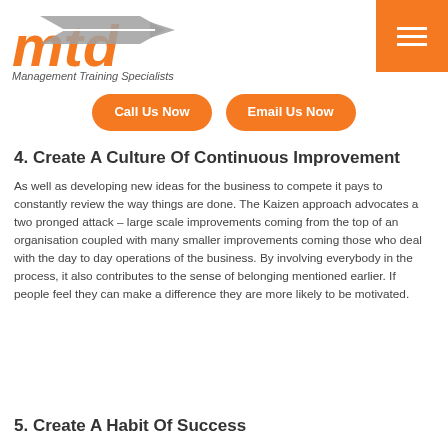MTD Management Training Specialists
Call Us Now
Email Us Now
4. Create A Culture Of Continuous Improvement
As well as developing new ideas for the business to compete it pays to constantly review the way things are done. The Kaizen approach advocates a two pronged attack – large scale improvements coming from the top of an organisation coupled with many smaller improvements coming those who deal with the day to day operations of the business. By involving everybody in the process, it also contributes to the sense of belonging mentioned earlier. If people feel they can make a difference they are more likely to be motivated.
5. Create A Habit Of Success